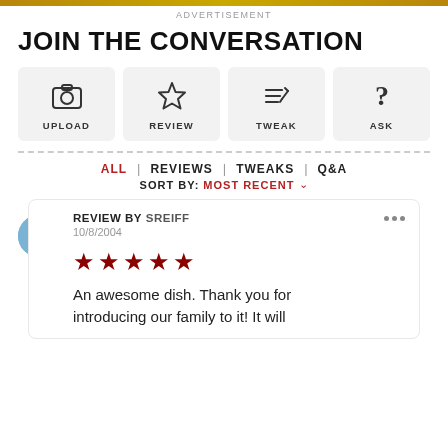ADVERTISEMENT
JOIN THE CONVERSATION
[Figure (infographic): Four action buttons: UPLOAD (camera icon), REVIEW (star icon), TWEAK (pencil/lines icon), ASK (question mark icon)]
ALL | REVIEWS | TWEAKS | Q&A
SORT BY: MOST RECENT ▾
REVIEW BY SREIFF
10/8/2004
★★★★★
An awesome dish. Thank you for introducing our family to it! It will